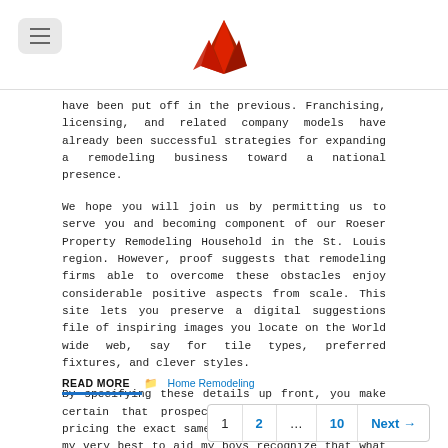[Figure (logo): Red crown/mountain shaped logo at top center]
have been put off in the previous. Franchising, licensing, and related company models have already been successful strategies for expanding a remodeling business toward a national presence.
We hope you will join us by permitting us to serve you and becoming component of our Roeser Property Remodeling Household in the St. Louis region. However, proof suggests that remodeling firms able to overcome these obstacles enjoy considerable positive aspects from scale. This site lets you preserve a digital suggestions file of inspiring images you locate on the World wide web, say for tile types, preferred fixtures, and clever styles.
By specifying these details up front, you make certain that prospective contractors are all pricing the exact same things. As a father I try my very best to aid my boys recognize that what Tv … Read More
READ MORE   Home Remodeling